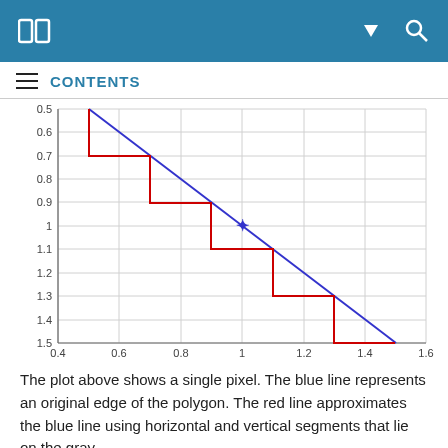CONTENTS
[Figure (continuous-plot): A plot showing a single pixel. A blue diagonal line goes from upper-left (0.5, 0.5) to lower-right (1.5, 1.5) representing the original polygon edge. A red staircase line approximates the blue line using horizontal and vertical segments on a gray grid. A blue star marker is placed at approximately (1.0, 1.0). The x-axis ranges from 0.4 to 1.6, the y-axis ranges from 0.5 to 1.5 (inverted, increasing downward). Gray gridlines are present.]
The plot above shows a single pixel. The blue line represents an original edge of the polygon. The red line approximates the blue line using horizontal and vertical segments that lie on the gray